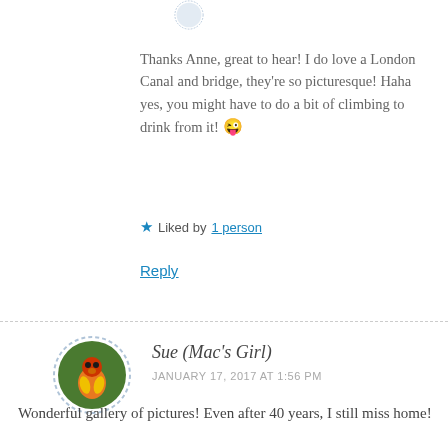[Figure (photo): Partial avatar of first commenter, dashed circle border, partially cropped at top]
Thanks Anne, great to hear! I do love a London Canal and bridge, they're so picturesque! Haha yes, you might have to do a bit of climbing to drink from it! 😜
★ Liked by 1 person
Reply
[Figure (photo): Avatar of Sue (Mac's Girl), circular dashed border, colorful parrot/insect illustration]
Sue (Mac's Girl)
JANUARY 17, 2017 AT 1:56 PM
Wonderful gallery of pictures! Even after 40 years, I still miss home!